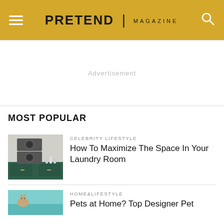PRETEND | MAGAZINE
Advertisement
MOST POPULAR
CELEBRITY LIFESTYLE
How To Maximize The Space In Your Laundry Room
[Figure (photo): Stacked washer and dryer with green cabinets in a laundry room]
HOME&LIFESTYLE
Pets at Home? Top Designer Pet
[Figure (photo): Cat or pet at home with teal/blue colored furniture]